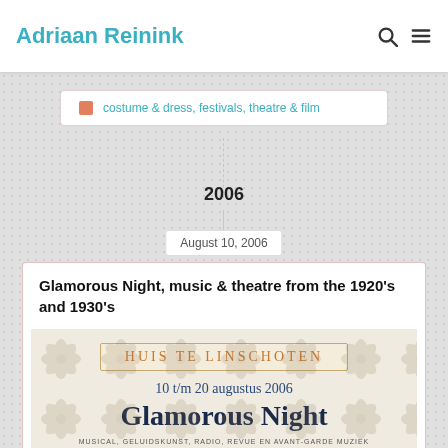Adriaan Reinink
costume & dress, festivals, theatre & film
2006
August 10, 2006
Glamorous Night, music & theatre from the 1920's and 1930's
[Figure (photo): Event poster for Glamorous Night at Huis te Linschoten, 10 t/m 20 augustus 2006. Musical, geluidskunst, radio, revue en avant-garde muziek uit de jaren 1920 & '30. Ivor Novello show, mechanisch orkest.]